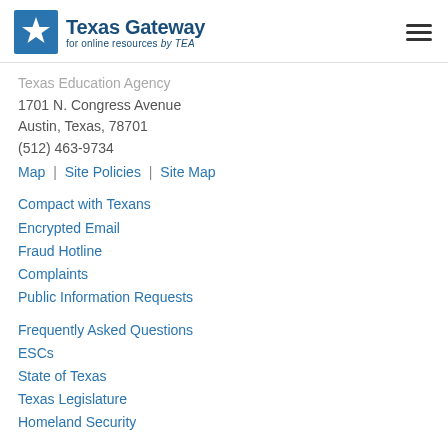Texas Gateway for online resources by TEA
Texas Education Agency
1701 N. Congress Avenue
Austin, Texas, 78701
(512) 463-9734
Map | Site Policies | Site Map
Compact with Texans
Encrypted Email
Fraud Hotline
Complaints
Public Information Requests
Frequently Asked Questions
ESCs
State of Texas
Texas Legislature
Homeland Security
Trail
Military Families
Where Our Money Goes
Equal Educational Opportunity